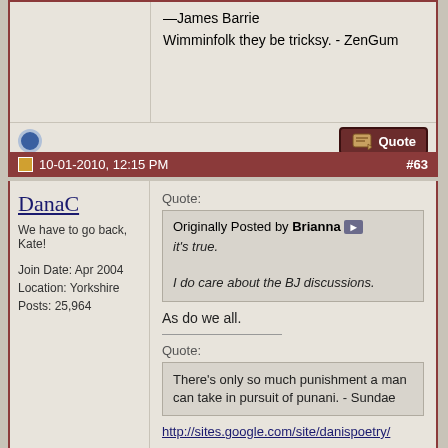—James Barrie

Wimminfolk they be tricksy. - ZenGum
10-01-2010, 12:15 PM   #63
DanaC
We have to go back, Kate!
Join Date: Apr 2004
Location: Yorkshire
Posts: 25,964
Quote:
Originally Posted by Brianna
it's true.

I do care about the BJ discussions.

As do we all.

Quote:
There's only so much punishment a man can take in pursuit of punani. - Sundae
http://sites.google.com/site/danispoetry/